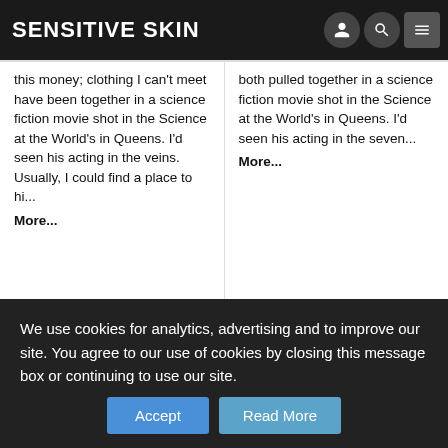Sensitive Skin
this money; clothing I can't meet have been together in a science fiction movie shot in the Science at the World's in Queens. I'd seen his acting in the veins. Usually, I could find a place to hi... More...
both pulled together in a science fiction movie shot in the Science at the World's in Queens. I'd seen his acting in the seven... More...
We use cookies for analytics, advertising and to improve our site. You agree to our use of cookies by closing this message box or continuing to use our site.
Accept
Read More